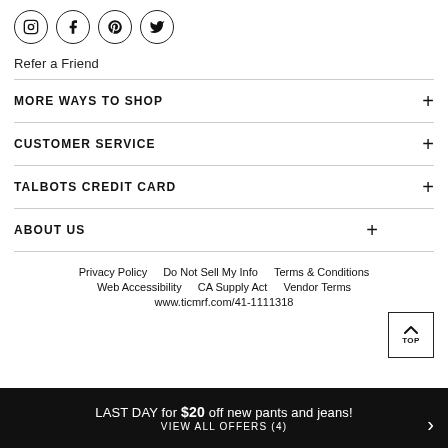[Figure (other): Row of four social media icons in circles: Instagram, Facebook, Pinterest, Twitter]
Refer a Friend
MORE WAYS TO SHOP
CUSTOMER SERVICE
TALBOTS CREDIT CARD
ABOUT US
Privacy Policy
Do Not Sell My Info
Terms & Conditions
Web Accessibility
CA Supply Act
Vendor Terms
www.ticmrf.com/41-1111318
LAST DAY for $20 off new pants and jeans! VIEW ALL OFFERS (4)